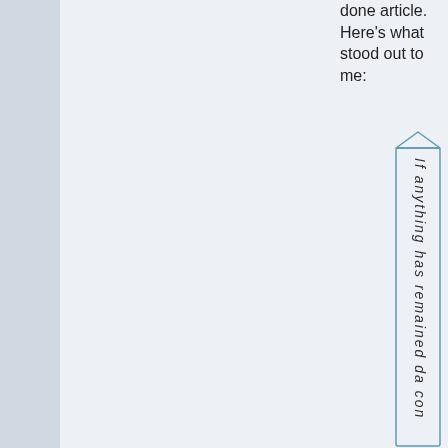done article. Here's what stood out to me:
[Figure (other): A vertical callout box with a pointer/tab at the top, containing italicized vertical text reading 'If anything has remained da con' (partial visible text running vertically)]